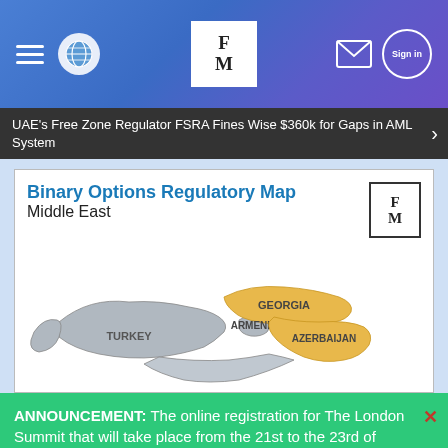FM navigation bar with hamburger menu, globe icon, FM logo, mail icon, sign in button
UAE's Free Zone Regulator FSRA Fines Wise $360k for Gaps in AML System
[Figure (map): Binary Options Regulatory Map - Middle East, showing a partial map with Turkey, Georgia, Armenia, and Azerbaijan highlighted. Georgia and Azerbaijan are colored in yellow/gold, while Turkey and Armenia are in grey.]
ANNOUNCEMENT: The online registration for The London Summit that will take place from the 21st to the 23rd of November is now open!
GET YOUR PASS →